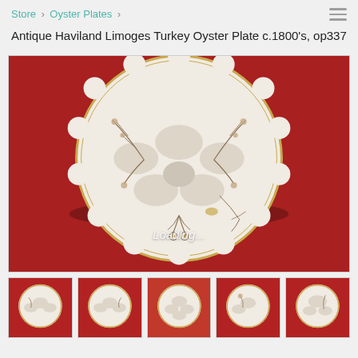Store › Oyster Plates ›
Antique Haviland Limoges Turkey Oyster Plate c.1800's, op337
[Figure (photo): Photo of an antique Haviland Limoges oyster plate, white/cream porcelain with floral decoration and scalloped gold rim edge, displayed on red fabric background. Loading indicator text visible.]
[Figure (photo): Thumbnail 1 of oyster plate on red background]
[Figure (photo): Thumbnail 2 of oyster plate on red background]
[Figure (photo): Thumbnail 3 of oyster plate on red background]
[Figure (photo): Thumbnail 4 of oyster plate on red background]
[Figure (photo): Thumbnail 5 of oyster plate on red background]